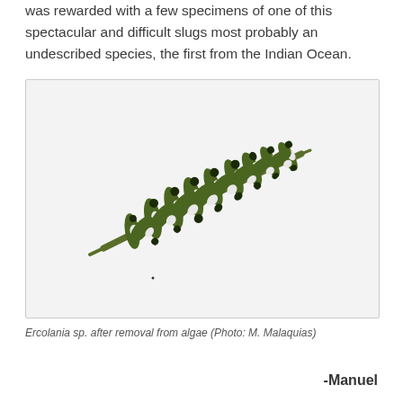was rewarded with a few specimens of one of this spectacular and difficult slugs most probably an undescribed species, the first from the Indian Ocean.
[Figure (photo): Photograph of Ercolania sp. sea slug after removal from algae, showing a green leaf-like body with dark-tipped cerata arranged along both sides, on a white background.]
Ercolania sp. after removal from algae (Photo: M. Malaquias)
-Manuel